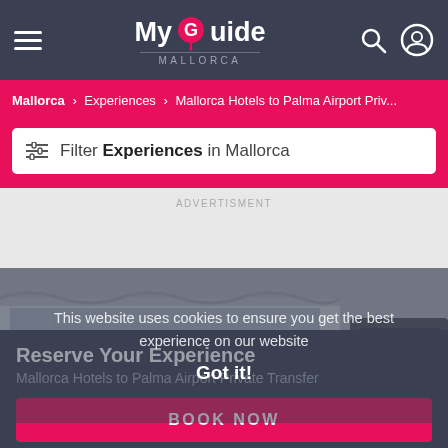My Guide MALLORCA
Mallorca > Experiences > Mallorca Hotels to Palma Airport Priv...
Filter Experiences in Mallorca
ADVERTISMENT
[Figure (photo): Airport terminal building with a black vehicle in front, overlaid with a cookie consent message: 'This website uses cookies to ensure you get the best experience on our website. Got it!']
Reserve Your Experience
Mallorca Hotels to Palma Airport Private Transfer
BOOK NOW